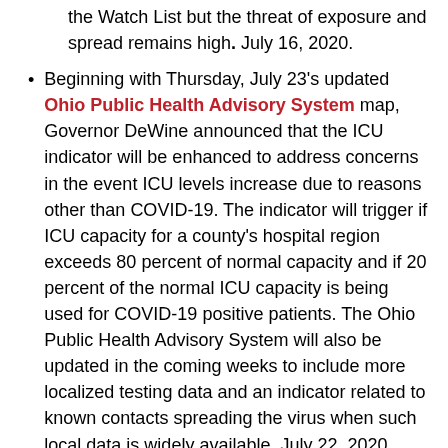the Watch List but the threat of exposure and spread remains high. July 16, 2020.
Beginning with Thursday, July 23's updated Ohio Public Health Advisory System map, Governor DeWine announced that the ICU indicator will be enhanced to address concerns in the event ICU levels increase due to reasons other than COVID-19. The indicator will trigger if ICU capacity for a county's hospital region exceeds 80 percent of normal capacity and if 20 percent of the normal ICU capacity is being used for COVID-19 positive patients. The Ohio Public Health Advisory System will also be updated in the coming weeks to include more localized testing data and an indicator related to known contacts spreading the virus when such local data is widely available. July 22, 2020.